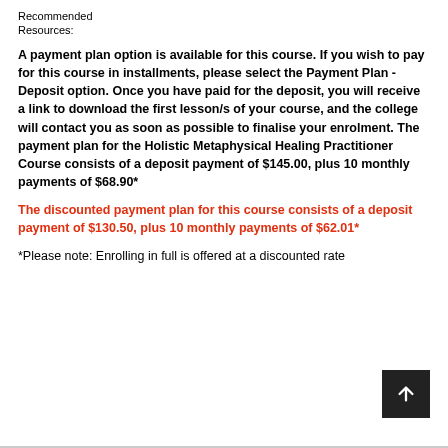Recommended
Resources:
A payment plan option is available for this course. If you wish to pay for this course in installments, please select the Payment Plan - Deposit option. Once you have paid for the deposit, you will receive a link to download the first lesson/s of your course, and the college will contact you as soon as possible to finalise your enrolment. The payment plan for the Holistic Metaphysical Healing Practitioner Course consists of a deposit payment of $145.00, plus 10 monthly payments of $68.90*
The discounted payment plan for this course consists of a deposit payment of $130.50, plus 10 monthly payments of $62.01*
*Please note: Enrolling in full is offered at a discounted rate